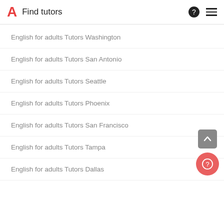Find tutors
English for adults Tutors Washington
English for adults Tutors San Antonio
English for adults Tutors Seattle
English for adults Tutors Phoenix
English for adults Tutors San Francisco
English for adults Tutors Tampa
English for adults Tutors Dallas